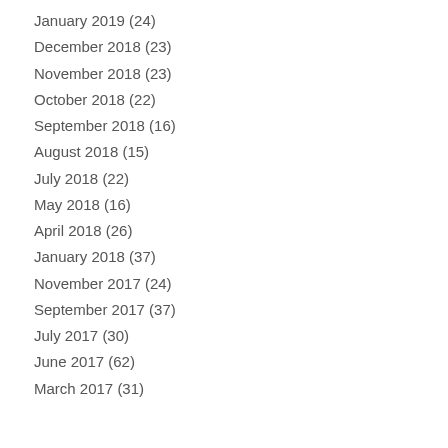January 2019 (24)
December 2018 (23)
November 2018 (23)
October 2018 (22)
September 2018 (16)
August 2018 (15)
July 2018 (22)
May 2018 (16)
April 2018 (26)
January 2018 (37)
November 2017 (24)
September 2017 (37)
July 2017 (30)
June 2017 (62)
March 2017 (31)